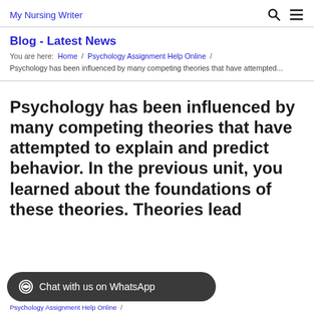My Nursing Writer
Blog - Latest News
You are here:  Home / Psychology Assignment Help Online /
Psychology has been influenced by many competing theories that have attempted...
Psychology has been influenced by many competing theories that have attempted to explain and predict behavior. In the previous unit, you learned about the foundations of these theories. Theories lead
Chat with us on WhatsApp
Psychology Assignment Help Online /